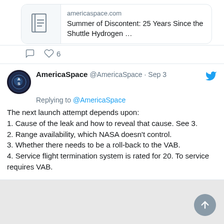[Figure (screenshot): Link preview card showing americaspace.com article titled 'Summer of Discontent: 25 Years Since the Shuttle Hydrogen ...' with a document icon]
6 likes
[Figure (illustration): AmericaSpace Twitter avatar - dark circular logo with 'A S' text and globe]
AmericaSpace @AmericaSpace · Sep 3
Replying to @AmericaSpace
The next launch attempt depends upon: 1. Cause of the leak and how to reveal that cause. See 3. 2. Range availability, which NASA doesn't control. 3. Whether there needs to be a roll-back to the VAB. 4. Service flight termination system is rated for 20. To service requires VAB.